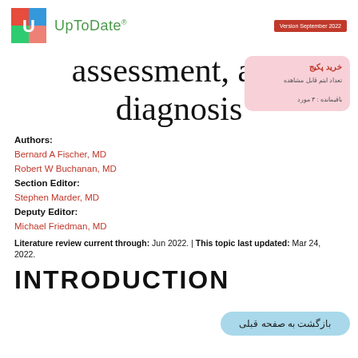[Figure (logo): UpToDate logo with colorful U icon and green UpToDate text, plus a red version badge reading 'Version September 2022']
assessment, and diagnosis
Authors:
Bernard A Fischer, MD
Robert W Buchanan, MD
Section Editor:
Stephen Marder, MD
Deputy Editor:
Michael Friedman, MD
Literature review current through: Jun 2022. | This topic last updated: Mar 24, 2022.
INTRODUCTION